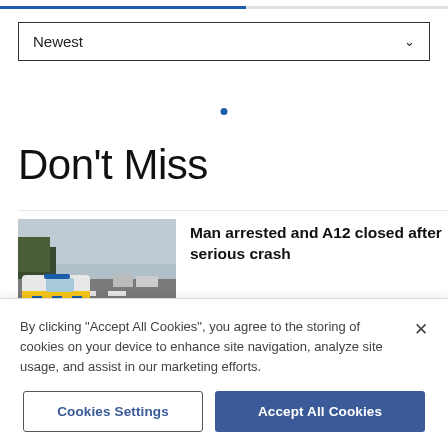Newest
Don't Miss
[Figure (photo): Police car (yellow and blue checkered livery) parked on a motorway with traffic in the background under an overcast sky.]
Man arrested and A12 closed after serious crash
By clicking "Accept All Cookies", you agree to the storing of cookies on your device to enhance site navigation, analyze site usage, and assist in our marketing efforts.
Cookies Settings
Accept All Cookies